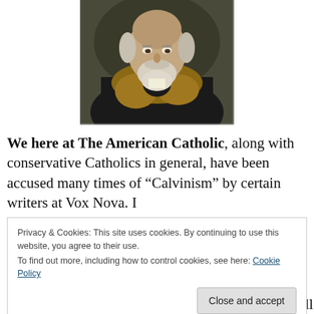[Figure (photo): Portrait painting of a bearded elderly man in dark robes with a fur-trimmed collar, likely a historical religious or scholarly figure.]
We here at The American Catholic, along with conservative Catholics in general, have been accused many times of "Calvinism" by certain writers at Vox Nova. I
Privacy & Cookies: This site uses cookies. By continuing to use this website, you agree to their use.
To find out more, including how to control cookies, see here: Cookie Policy
big government programs, for slavishness before all forms